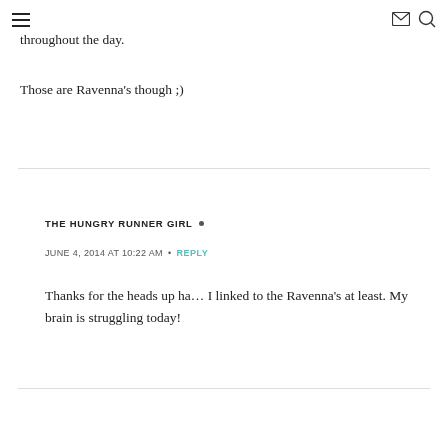[hamburger menu icon] [email icon] [search icon]
throughout the day.
Those are Ravenna's though ;)
THE HUNGRY RUNNER GIRL •
JUNE 4, 2014 AT 10:22 AM • REPLY
Thanks for the heads up ha… I linked to the Ravenna's at least. My brain is struggling today!